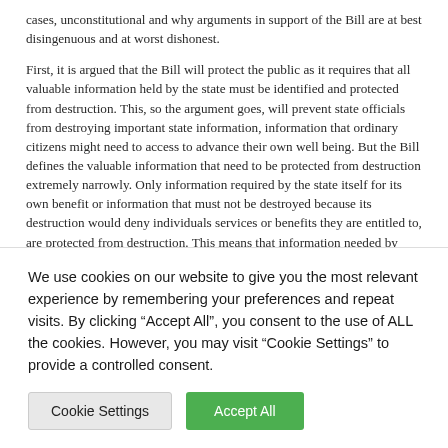cases, unconstitutional and why arguments in support of the Bill are at best disingenuous and at worst dishonest.
First, it is argued that the Bill will protect the public as it requires that all valuable information held by the state must be identified and protected from destruction. This, so the argument goes, will prevent state officials from destroying important state information, information that ordinary citizens might need to access to advance their own well being. But the Bill defines the valuable information that need to be protected from destruction extremely narrowly. Only information required by the state itself for its own benefit or information that must not be destroyed because its destruction would deny individuals services or benefits they are entitled to, are protected from destruction. This means that information needed by individuals to exercise their fundamental human rights or information required by individuals to become active citizens who are capable of
We use cookies on our website to give you the most relevant experience by remembering your preferences and repeat visits. By clicking "Accept All", you consent to the use of ALL the cookies. However, you may visit "Cookie Settings" to provide a controlled consent.